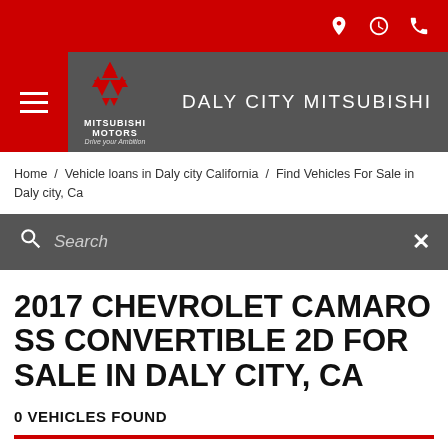Daly City Mitsubishi - navigation header with location, hours, phone icons
Home / Vehicle loans in Daly city California / Find Vehicles For Sale in Daly city, Ca
Search
2017 CHEVROLET CAMARO SS CONVERTIBLE 2D FOR SALE IN DALY CITY, CA
0 VEHICLES FOUND